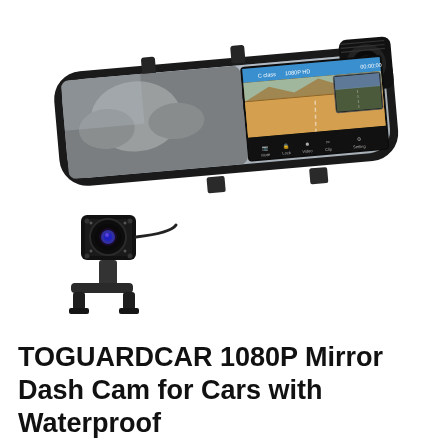[Figure (photo): Product photo of a TOGUARDCAR mirror dash cam showing the rearview mirror form factor with a built-in touchscreen display showing a road ahead and a split rear camera view, plus a separate waterproof rear backup camera accessory shown below-left.]
TOGUARDCAR 1080P Mirror Dash Cam for Cars with Waterproof